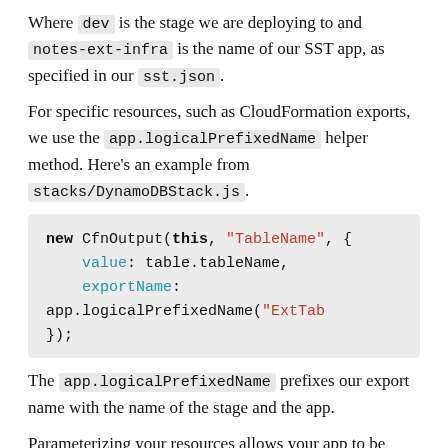Where `dev` is the stage we are deploying to and `notes-ext-infra` is the name of our SST app, as specified in our `sst.json`.
For specific resources, such as CloudFormation exports, we use the `app.logicalPrefixedName` helper method. Here's an example from `stacks/DynamoDBStack.js`.
[Figure (screenshot): Code block showing: new CfnOutput(this, "TableName", { value: table.tableName, exportName: app.logicalPrefixedName("ExtTab }); ]
The `app.logicalPrefixedName` prefixes our export name with the name of the stage and the app.
Parameterizing your resources allows your app to be deployed to multiple environments without naming conflicts. Next, let's deploy our app!